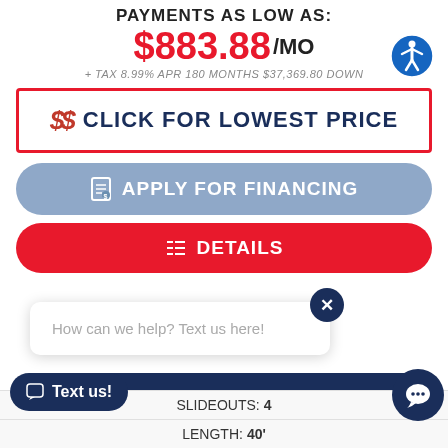PAYMENTS AS LOW AS:
$883.88/MO
+ TAX 8.99% APR 180 MONTHS $37,369.80 DOWN
$$ CLICK FOR LOWEST PRICE
APPLY FOR FINANCING
DETAILS
How can we help? Text us here!
VALUE YOUR TRADE
Text us!
SLIDEOUTS: 4
LENGTH: 40'